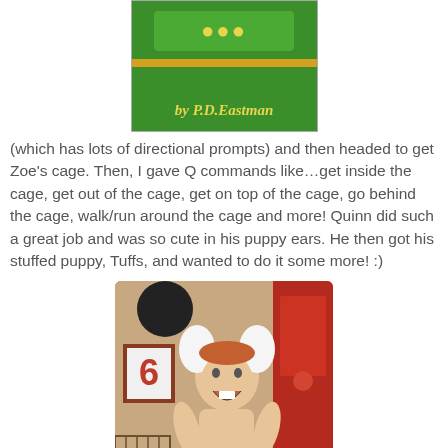[Figure (photo): Book cover showing 'by P.D.Eastman' on a green background, partially visible at top]
(which has lots of directional prompts) and then headed to get Zoe's cage. Then, I gave Q commands like…get inside the cage, get out of the cage, get on top of the cage, go behind the cage, walk/run around the cage and more! Quinn did such a great job and was so cute in his puppy ears. He then got his stuffed puppy, Tuffs, and wanted to do it some more! :)
[Figure (photo): A laughing toddler wearing white fluffy puppy ears, shirtless, sitting in front of a red locker/cabinet, with a number 6 sign on the wall behind]